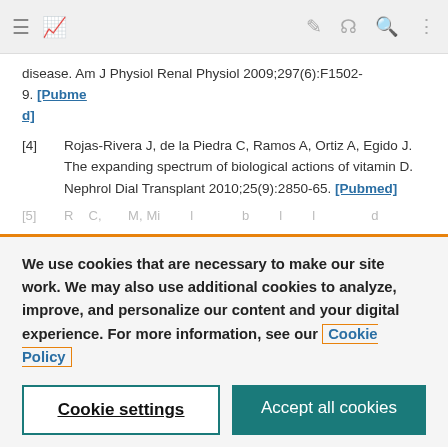Navigation bar with menu, logo, edit, share, search, and more icons
disease. Am J Physiol Renal Physiol 2009;297(6):F1502-9. [Pubmed]
[4] Rojas-Rivera J, de la Piedra C, Ramos A, Ortiz A, Egido J. The expanding spectrum of biological actions of vitamin D. Nephrol Dial Transplant 2010;25(9):2850-65. [Pubmed]
[5] (partially visible, obscured)
We use cookies that are necessary to make our site work. We may also use additional cookies to analyze, improve, and personalize our content and your digital experience. For more information, see our Cookie Policy
Cookie settings
Accept all cookies